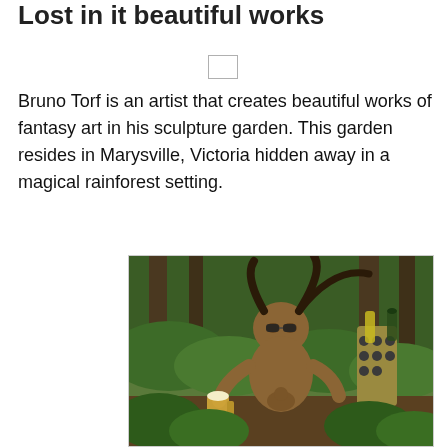Lost in it beautiful works
Bruno Torf is an artist that creates beautiful works of fantasy art in his sculpture garden. This garden resides in Marysville, Victoria hidden away in a magical rainforest setting.
[Figure (photo): A fantasy sculpture of a horned, humanoid creature sitting in a lush rainforest setting, holding a glass of beer, with ferns and trees in the background. The sculpture is by Bruno Torf in his sculpture garden in Marysville, Victoria.]